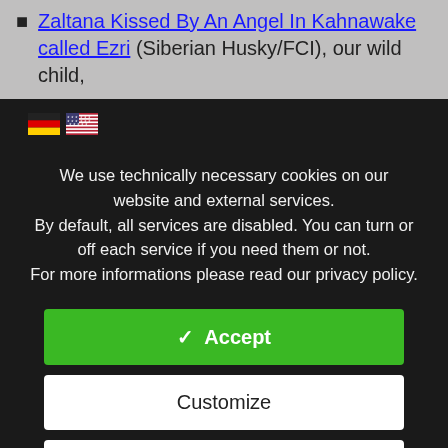Zaltana Kissed By An Angel In Kahnawake called Ezri (Siberian Husky/FCI), our wild child,
[Figure (screenshot): Cookie consent modal with dark background, German and US flag icons, cookie policy text, and three buttons: Accept (green), Customize (white), Reject (white)]
We use technically necessary cookies on our website and external services.
By default, all services are disabled. You can turn or off each service if you need them or not.
For more informations please read our privacy policy.